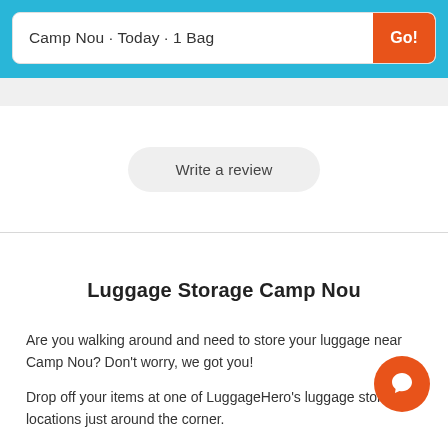Camp Nou · Today · 1 Bag
Write a review
Luggage Storage Camp Nou
Are you walking around and need to store your luggage near Camp Nou? Don't worry, we got you!
Drop off your items at one of LuggageHero's luggage storage locations just around the corner.
At LuggageHero, we offer secured and cheap luggage storage. All